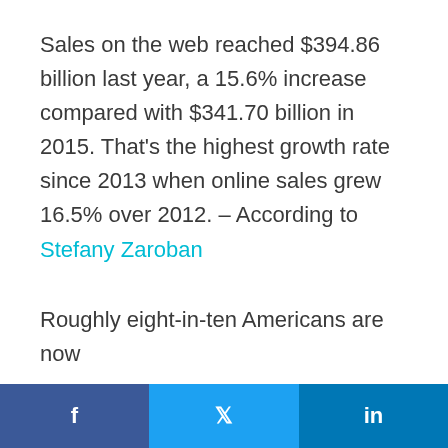Sales on the web reached $394.86 billion last year, a 15.6% increase compared with $341.70 billion in 2015. That's the highest growth rate since 2013 when online sales grew 16.5% over 2012. – According to Stefany Zaroban

Roughly eight-in-ten Americans are now
f  [Twitter bird]  in